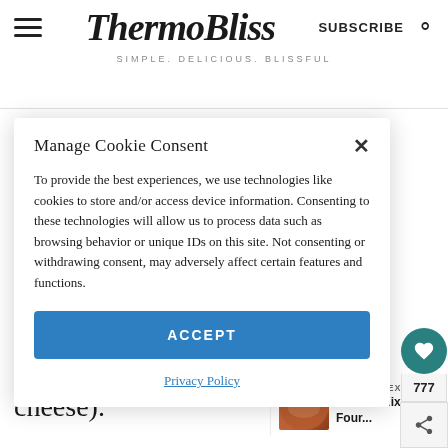ThermoBliss — SIMPLE. DELICIOUS. BLISSFUL
Manage Cookie Consent
To provide the best experiences, we use technologies like cookies to store and/or access device information. Consenting to these technologies will allow us to process data such as browsing behavior or unique IDs on this site. Not consenting or withdrawing consent, may adversely affect certain features and functions.
ACCEPT
Privacy Policy
777
Thermomix bowl (including the cheese).
WHAT'S NEXT → Thermomix Four...